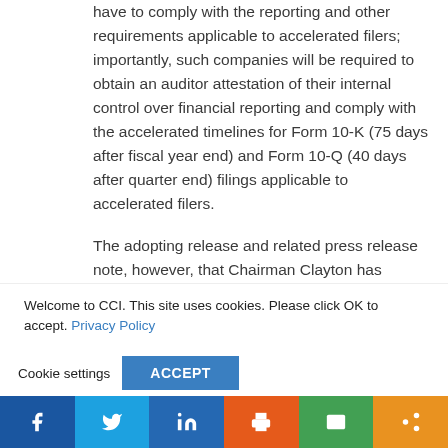have to comply with the reporting and other requirements applicable to accelerated filers; importantly, such companies will be required to obtain an auditor attestation of their internal control over financial reporting and comply with the accelerated timelines for Form 10-K (75 days after fiscal year end) and Form 10-Q (40 days after quarter end) filings applicable to accelerated filers.
The adopting release and related press release note, however, that Chairman Clayton has directed the SEC Staff to
Welcome to CCI. This site uses cookies. Please click OK to accept. Privacy Policy
Cookie settings | ACCEPT